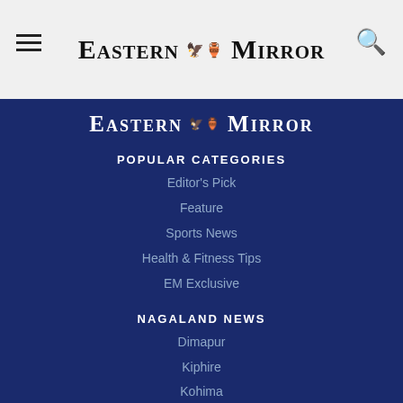Eastern Mirror
[Figure (logo): Eastern Mirror newspaper logo with bird emblem, white text on dark blue background]
POPULAR CATEGORIES
Editor's Pick
Feature
Sports News
Health & Fitness Tips
EM Exclusive
NAGALAND NEWS
Dimapur
Kiphire
Kohima